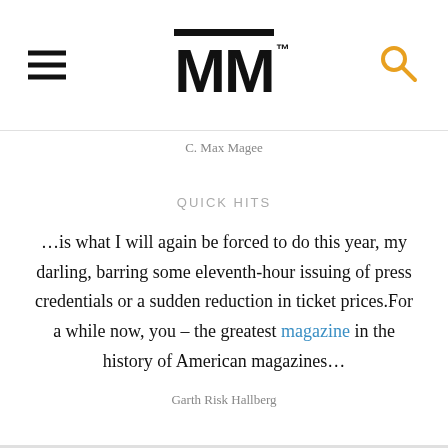MM
C. Max Magee
QUICK HITS
…is what I will again be forced to do this year, my darling, barring some eleventh-hour issuing of press credentials or a sudden reduction in ticket prices.For a while now, you – the greatest magazine in the history of American magazines…
Garth Risk Hallberg